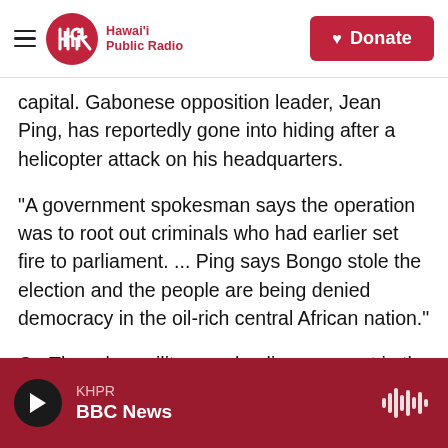Hawai'i Public Radio | Donate
capital. Gabonese opposition leader, Jean Ping, has reportedly gone into hiding after a helicopter attack on his headquarters.
"A government spokesman says the operation was to root out criminals who had earlier set fire to parliament. ... Ping says Bongo stole the election and the people are being denied democracy in the oil-rich central African nation."
On Thursday, military and police were out in the streets taking down barriers set up during the riots, which seem to have subsided.
KHPR | BBC News